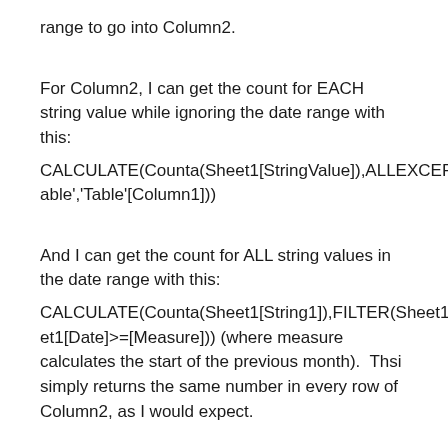range to go into Column2.
For Column2, I can get the count for EACH string value while ignoring the date range with this:
CALCULATE(Counta(Sheet1[StringValue]),ALLEXCEPT('Table','Table'[Column1]))
And I can get the count for ALL string values in the date range with this:
CALCULATE(Counta(Sheet1[String1]),FILTER(Sheet1,Sheet1[Date]>=[Measure])) (where measure calculates the start of the previous month).  Thsi simply returns the same number in every row of Column2, as I would expect.